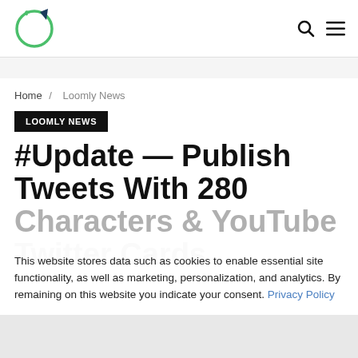[Figure (logo): Loomly logo: green circle with dark cat ear accent]
Search icon and hamburger menu icon
Home / Loomly News
LOOMLY NEWS
#Update — Publish Tweets With 280 Characters & YouTube Twitter Cards
This website stores data such as cookies to enable essential site functionality, as well as marketing, personalization, and analytics. By remaining on this website you indicate your consent. Privacy Policy